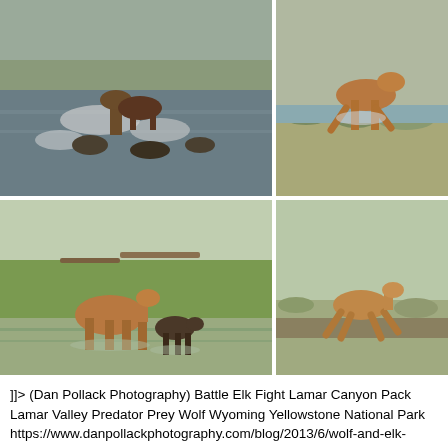[Figure (photo): Top-left wildlife photo: elk or animals crossing a river with splashing water, bird flying above]
[Figure (photo): Top-right wildlife photo: elk or large animal running or leaping on grassy terrain]
[Figure (photo): Bottom-left wildlife photo: elk cow and calf standing in shallow water near grassy bank]
[Figure (photo): Bottom-right wildlife photo: elk running on open grassland terrain]
]]> (Dan Pollack Photography) Battle Elk Fight Lamar Canyon Pack Lamar Valley Predator Prey Wolf Wyoming Yellowstone National Park https://www.danpollackphotography.com/blog/2013/6/wolf-and-elk-lamar-valley Wed, 05 Jun 2013 03:58:38 GMT https://www.danpollackphotography.com/blog/2013/5/just-when-you-think-you-know-nature With a dozen others, we were watching with a grizzly bear in the Lamar Valley, closing in on a sandhill crane. Instinctively, we all wanted to warn the crane that